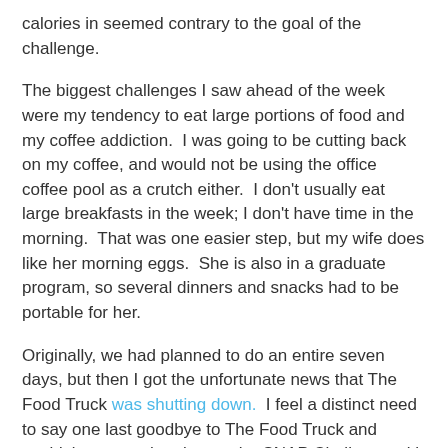calories in seemed contrary to the goal of the challenge.
The biggest challenges I saw ahead of the week were my tendency to eat large portions of food and my coffee addiction.  I was going to be cutting back on my coffee, and would not be using the office coffee pool as a crutch either.  I don't usually eat large breakfasts in the week; I don't have time in the morning.  That was one easier step, but my wife does like her morning eggs.  She is also in a graduate program, so several dinners and snacks had to be portable for her.
Originally, we had planned to do an entire seven days, but then I got the unfortunate news that The Food Truck was shutting down.  I feel a distinct need to say one last goodbye to The Food Truck and couldn't square cheating on the SNAP Challenge with that.  We opted to go with 5 days instead of 7 for that reason.  For 2 people over 7 days, the SNAP challenge budget was $60.86.  With only 5 days, we were limited to $42.50 for two people. We spent $40.73 on the following: